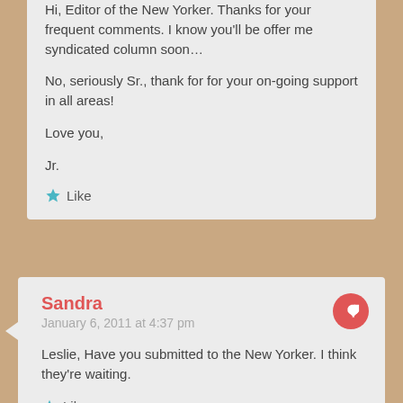Hi, Editor of the New Yorker. Thanks for your frequent comments. I know you'll be offer me syndicated column soon…

No, seriously Sr., thank for for your on-going support in all areas!

Love you,

Jr.
Like
Sandra
January 6, 2011 at 4:37 pm
Leslie, Have you submitted to the New Yorker. I think they're waiting.
Like